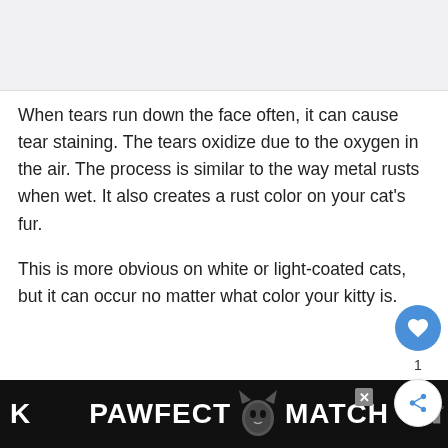[Figure (photo): Top image placeholder area, light gray background]
When tears run down the face often, it can cause tear staining. The tears oxidize due to the oxygen in the air. The process is similar to the way metal rusts when wet. It also creates a rust color on your cat’s fur.
This is more obvious on white or light-coated cats, but it can occur no matter what color your kitty is.
[Figure (infographic): Advertisement banner: PAWFECT MATCH with cat face graphic on dark background]